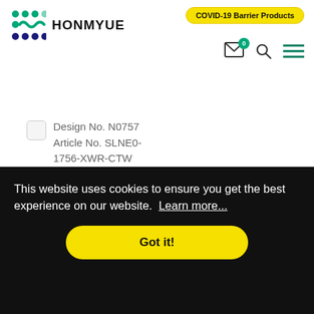HONMYUE — COVID-19 Barrier Products
Design No. N0757
Article No. SLNE0-1756-XWR-CTW
Design No. N0759
Article No. SLNY0-1751-XWR-CTW
Design No. N0760
Article No. SLNE0-1750-XWR-CTW
This website uses cookies to ensure you get the best experience on our website. Learn more...
Got it!